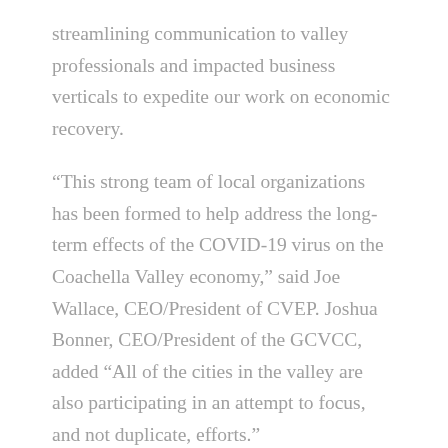streamlining communication to valley professionals and impacted business verticals to expedite our work on economic recovery.
“This strong team of local organizations has been formed to help address the long-term effects of the COVID-19 virus on the Coachella Valley economy,” said Joe Wallace, CEO/President of CVEP. Joshua Bonner, CEO/President of the GCVCC, added “All of the cities in the valley are also participating in an attempt to focus, and not duplicate, efforts.”
These lead organizations will take an active role to assist in minimizing economic impacts to the